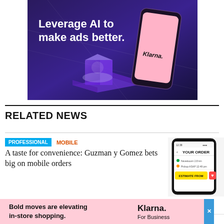[Figure (illustration): Klarna advertisement banner: dark purple/blue background with glowing purple 3D geometric shapes and a pink smartphone showing the Klarna logo. Text reads 'Leverage AI to make ads better.']
RELATED NEWS
PROFESSIONAL   MOBILE
A taste for convenience: Guzman y Gomez bets big on mobile orders
[Figure (screenshot): Mobile app screenshot showing 'YOUR ORDER' screen with navigation and order details]
Heather
[Figure (illustration): Klarna bottom advertisement: pink background with text 'Bold moves are elevating in-store shopping.' and 'Klarna. For Business' branding]